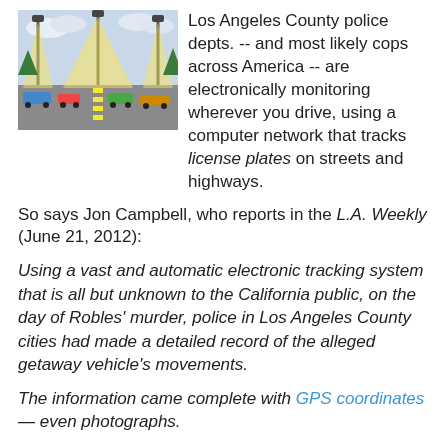[Figure (illustration): Illustration showing electronic surveillance of vehicles on a highway, with towers emitting signals tracking cars below.]
Los Angeles County police depts. -- and most likely cops across America -- are electronically monitoring wherever you drive, using a computer network that tracks license plates on streets and highways.
So says Jon Campbell, who reports in the L.A. Weekly (June 21, 2012):
Using a vast and automatic electronic tracking system that is all but unknown to the California public, on the day of Robles' murder, police in Los Angeles County cities had made a detailed record of the alleged getaway vehicle's movements.
The information came complete with GPS coordinates — even photographs.
In a situation evoking the hit movie Minority Report, the suspects were being watched even before they were...